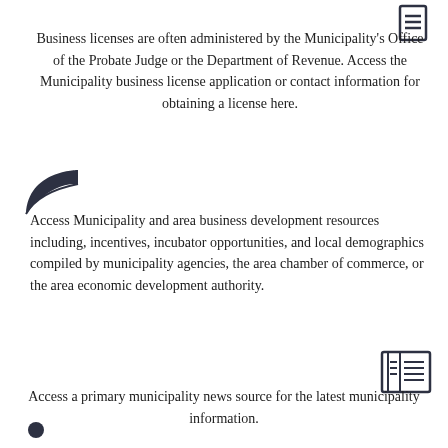[Figure (illustration): Document/list icon in dark color at top right corner]
Business licenses are often administered by the Municipality's Office of the Probate Judge or the Department of Revenue. Access the Municipality business license application or contact information for obtaining a license here.
[Figure (illustration): Leaf/plant icon in dark color on the left side]
Access Municipality and area business development resources including, incentives, incubator opportunities, and local demographics compiled by municipality agencies, the area chamber of commerce, or the area economic development authority.
[Figure (illustration): Newspaper/document icon in dark color on the right side]
Access a primary municipality news source for the latest municipality information.
[Figure (illustration): Small icon at bottom left, partially visible]